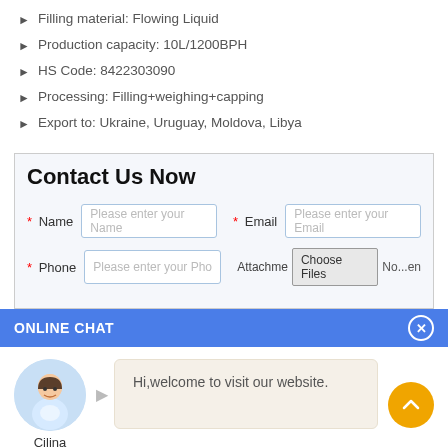Filling material: Flowing Liquid
Production capacity: 10L/1200BPH
HS Code: 8422303090
Processing: Filling+weighing+capping
Export to: Ukraine, Uruguay, Moldova, Libya
Contact Us Now
[Figure (screenshot): Contact form with Name, Email, Phone fields and file attachment button]
ONLINE CHAT
[Figure (photo): Avatar photo of a woman named Cilina with a chat bubble saying Hi,welcome to visit our website.]